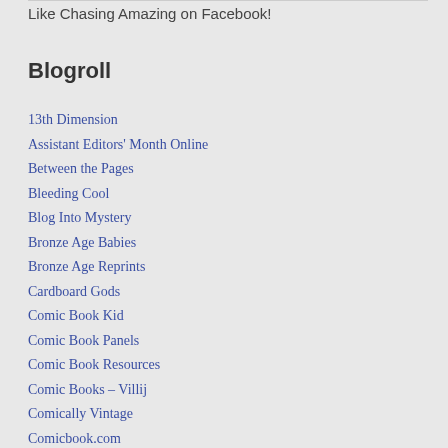Like Chasing Amazing on Facebook!
Blogroll
13th Dimension
Assistant Editors' Month Online
Between the Pages
Bleeding Cool
Blog Into Mystery
Bronze Age Babies
Bronze Age Reprints
Cardboard Gods
Comic Book Kid
Comic Book Panels
Comic Book Resources
Comic Books – Villij
Comically Vintage
Comicbook.com
Comics Alliance